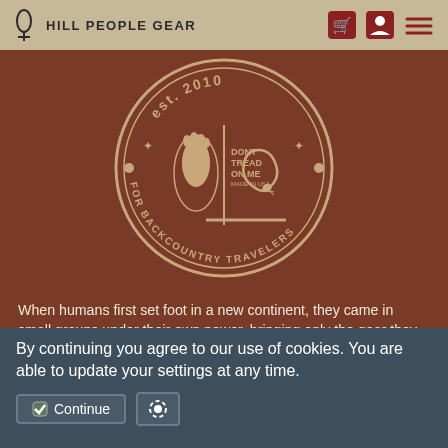Hill People Gear
[Figure (logo): Hill People Gear circular badge logo: est. 2010, for backcountry travelers, featuring a footprint / torch and a Gadsden snake with 'Don't Tread On Me - Made in USA']
When humans first set foot in a new continent, they came in small groups under their own power, bringing only the gear they needed. Most simply called themselves The People. Over time, those who chose the rougher freer life of the up country came to think of themselves as the Hill People.
By continuing you agree to our use of cookies. You are able to update your settings at any time.